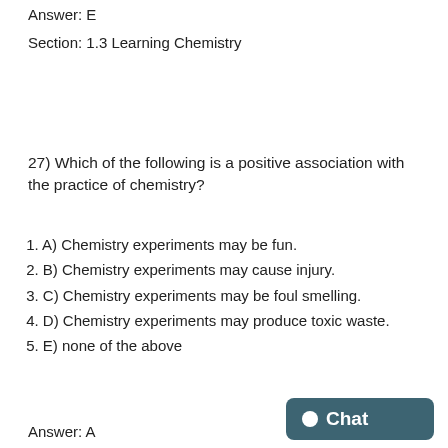Answer:  E
Section:  1.3 Learning Chemistry
27) Which of the following is a positive association with the practice of chemistry?
1. A) Chemistry experiments may be fun.
2. B) Chemistry experiments may cause injury.
3. C) Chemistry experiments may be foul smelling.
4. D) Chemistry experiments may produce toxic waste.
5. E) none of the above
Answer:  A